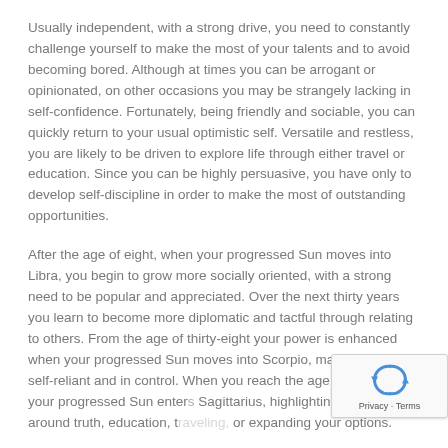Usually independent, with a strong drive, you need to constantly challenge yourself to make the most of your talents and to avoid becoming bored. Although at times you can be arrogant or opinionated, on other occasions you may be strangely lacking in self-confidence. Fortunately, being friendly and sociable, you can quickly return to your usual optimistic self. Versatile and restless, you are likely to be driven to explore life through either travel or education. Since you can be highly persuasive, you have only to develop self-discipline in order to make the most of outstanding opportunities.
After the age of eight, when your progressed Sun moves into Libra, you begin to grow more socially oriented, with a strong need to be popular and appreciated. Over the next thirty years you learn to become more diplomatic and tactful through relating to others. From the age of thirty-eight your power is enhanced when your progressed Sun moves into Scorpio, making you more self-reliant and in control. When you reach the age of sixty-eight your progressed Sun enters Sagittarius, highlighting issues around truth, education, t... or expanding your options.
[Figure (other): reCAPTCHA widget showing a recycling-arrows icon in blue, with 'Privacy · Terms' text below]